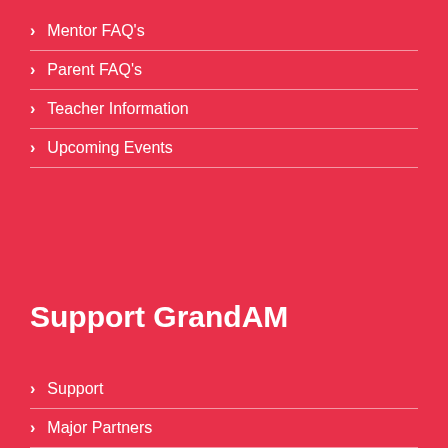› Mentor FAQ's
› Parent FAQ's
› Teacher Information
› Upcoming Events
Support GrandAM
› Support
› Major Partners
› Questions? Contact Us